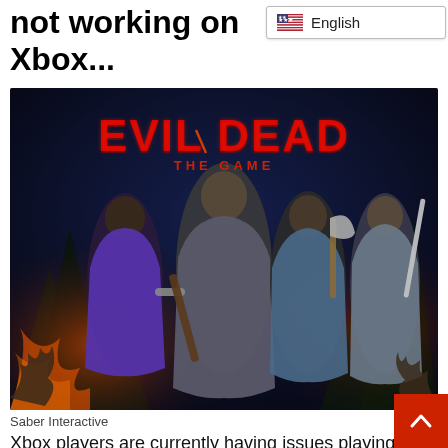Why is Evil Dead not working on Xbox...
[Figure (illustration): Evil Dead: The Game promotional artwork showing four characters — a woman in purple jacket, a man with chainsaw arm holding a bat, a woman in plaid with an axe, and an armored man with a sword — set against a dark forest background with the 'EVIL DEAD THE GAME' logo in red at the top.]
Saber Interactive
Xbox players are currently having issues playing Evil Dead: The Game.
While not every Xbox user is receiving connection i... a number of players have reported that they can not access the game. Not being able to access multiplayer